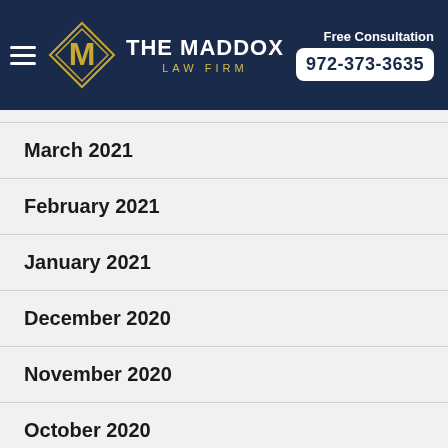[Figure (logo): The Maddox Law Firm logo with hamburger menu, diamond M emblem, firm name, and phone number 972-373-3635 with Free Consultation label]
March 2021
February 2021
January 2021
December 2020
November 2020
October 2020
October 2019
September 2019